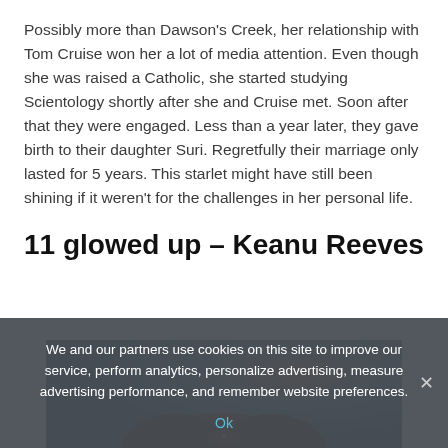Possibly more than Dawson's Creek, her relationship with Tom Cruise won her a lot of media attention. Even though she was raised a Catholic, she started studying Scientology shortly after she and Cruise met. Soon after that they were engaged. Less than a year later, they gave birth to their daughter Suri. Regretfully their marriage only lasted for 5 years. This starlet might have still been shining if it weren't for the challenges in her personal life.
11 glowed up – Keanu Reeves
[Figure (photo): Partial photo showing top of a person's head with brown hair, blurred background with warm orange tones]
We and our partners use cookies on this site to improve our service, perform analytics, personalize advertising, measure advertising performance, and remember website preferences.
Ok